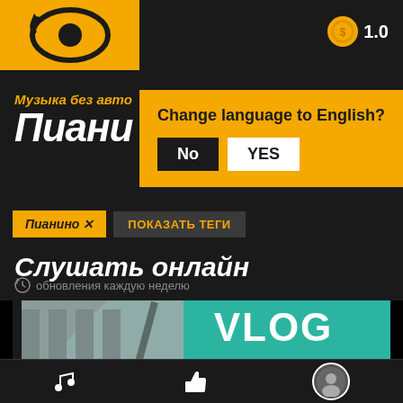[Figure (logo): Yellow square logo with eye/arrow icon]
1.0
Музыка без авт
Пиани
Change language to English?
No  YES
Пианино X
ПОКАЗАТЬ ТЕГИ
Слушать онлайн
обновления каждую неделю
[Figure (screenshot): VLOG NO COPYRIGHT thumbnail image with building and teal background]
Music note icon | Thumbs up icon | Avatar/support icon